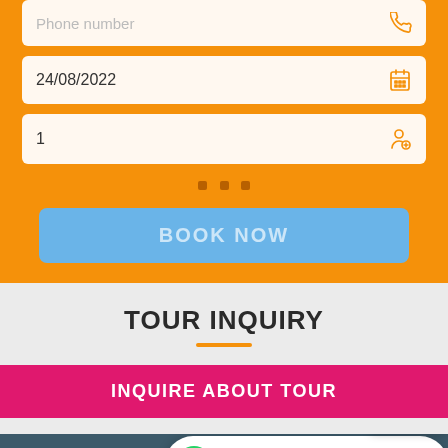[Figure (screenshot): Phone number input field with phone icon, partially visible at top]
24/08/2022
1
BOOK NOW
TOUR INQUIRY
INQUIRE ABOUT TOUR
ABOUT US
We are on Whatsapp - Message us!